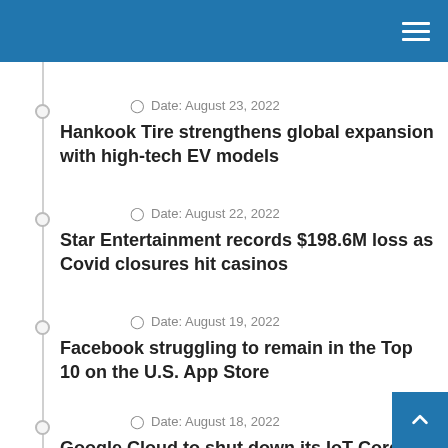Navigation menu header bar
Date: August 23, 2022
Hankook Tire strengthens global expansion with high-tech EV models
Date: August 22, 2022
Star Entertainment records $198.6M loss as Covid closures hit casinos
Date: August 19, 2022
Facebook struggling to remain in the Top 10 on the U.S. App Store
Date: August 18, 2022
Google Cloud to shut down its IoT Core service August 2023